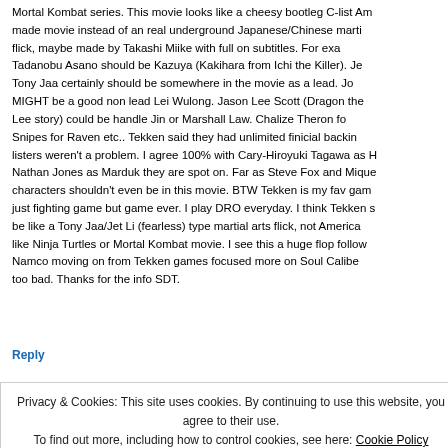Mortal Kombat series. This movie looks like a cheesy bootleg C-list Am... made movie instead of an real underground Japanese/Chinese marti... flick, maybe made by Takashi Miike with full on subtitles. For exa... Tadanobu Asano should be Kazuya (Kakihara from Ichi the Killer). Je... Tony Jaa certainly should be somewhere in the movie as a lead. Jo... MIGHT be a good non lead Lei Wulong. Jason Lee Scott (Dragon the... Lee story) could be handle Jin or Marshall Law. Chalize Theron fo... Snipes for Raven etc.. Tekken said they had unlimited finicial backin... listers weren't a problem. I agree 100% with Cary-Hiroyuki Tagawa as H... Nathan Jones as Marduk they are spot on. Far as Steve Fox and Mique... characters shouldn't even be in this movie. BTW Tekken is my fav gam... just fighting game but game ever. I play DRO everyday. I think Tekken s... be like a Tony Jaa/Jet Li (fearless) type martial arts flick, not America... like Ninja Turtles or Mortal Kombat movie. I see this a huge flop follow... Namco moving on from Tekken games focused more on Soul Calibe... too bad. Thanks for the info SDT.
Reply
Privacy & Cookies: This site uses cookies. By continuing to use this website, you agree to their use. To find out more, including how to control cookies, see here: Cookie Policy
Close and accept